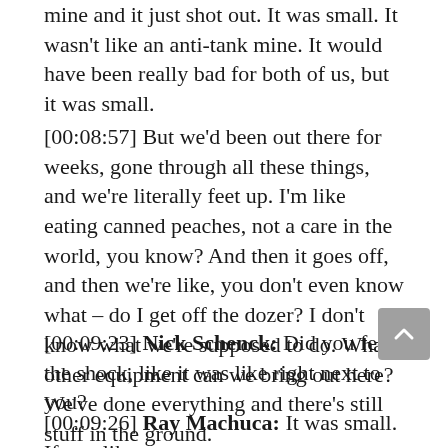mine and it just shot out. It was small. It wasn't like an anti-tank mine. It would have been really bad for both of us, but it was small.
[00:08:57] But we'd been out there for weeks, gone through all these things, and we're literally feet up. I'm like eating canned peaches, not a care in the world, you know? And then it goes off, and then we're like, you don't even know what – do I get off the dozer? I don't know what we're supposed to do. What other equipment can we bring out here? We've done everything and there's still stuff in the ground.
[00:09:23] Nick Schenck: Did you feel the shock, like it was like right next to you?
[00:09:26] Ray Machuca: It was small. If you like